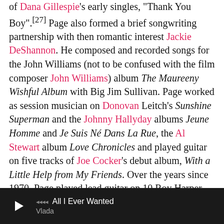Twice as Much and Clapton. Also in 1965, Page produced one of Dana Gillespie's early singles, "Thank You Boy".[27] Page also formed a brief songwriting partnership with then romantic interest Jackie DeShannon. He composed and recorded songs for the John Williams (not to be confused with the film composer John Williams) album The Maureeny Wishful Album with Big Jim Sullivan. Page worked as session musician on Donovan Leitch's Sunshine Superman and the Johnny Hallyday albums Jeune Homme and Je Suis Né Dans La Rue, the Al Stewart album Love Chronicles and played guitar on five tracks of Joe Cocker's debut album, With a Little Help from My Friends. Over the years since 1970, Page played lead guitar on 10 Roy Harper tracks, comprising 81 minutes of music.

When questioned about which songs he played on, especially ones where there exists some controversy as to what his exact role was, Page often points out that it is hard to remember
[Figure (other): Media player bar at bottom of screen showing play button, sound wave icon, track title 'All I Ever Wanted' by artist 'Vlada']